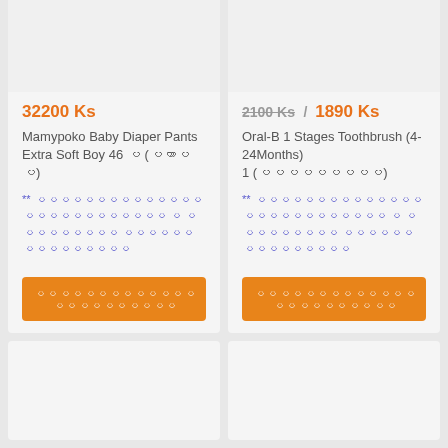[Figure (other): Product image placeholder for Mamypoko Baby Diaper Pants]
32200 Ks
Mamypoko Baby Diaper Pants Extra Soft Boy 46 ပ (ပကာပပ)
** ပပပပပပပပပပပပပပပပပပပပပပပပပပ ပ ပပပပပပပပပ ပပပပပပ ပပပပပပပပပ
ပပပပပပပပပပပပပပပပပပပပပပပ
[Figure (other): Product image placeholder for Oral-B Toothbrush]
2100 Ks / 1890 Ks
Oral-B 1 Stages Toothbrush (4-24Months) 1 (ပပပပပပပပပ)
** ပပပပပပပပပပပပပပပပပပပပပပပပပပ ပ ပပပပပပပပပ ပပပပပပ ပပပပပပပပပ
ပပပပပပပပပပပပပပပပပပပပပပပ
[Figure (other): Product image placeholder bottom left]
[Figure (other): Product image placeholder bottom right]